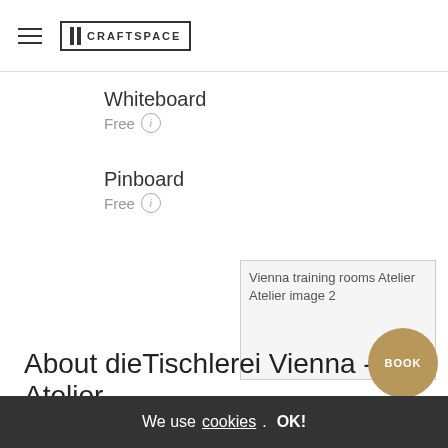CRAFTSPACE
Whiteboard
Free
Pinboard
Free
[Figure (photo): Broken image placeholder for Vienna training rooms Atelier Atelier image 2]
About dieTischlerei Vienna - Atelier
Die Tischlerei is a cosy Coworking Space, which provides desks and rooms for their clients. The roo...
We use cookies. OK!